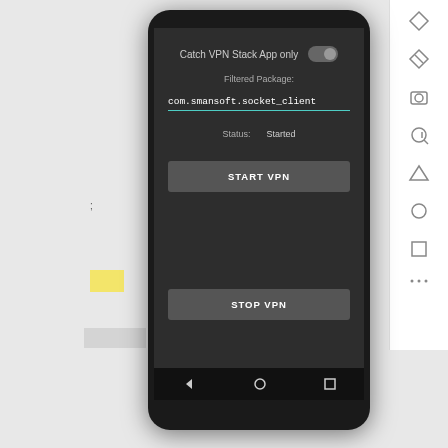[Figure (screenshot): Android smartphone screenshot showing a VPN app interface with 'Catch VPN Stack App only' toggle, 'Filtered Package: com.smansoft.socket_client' input field, Status: Started label, START VPN button, STOP VPN button, and Android navigation bar. A side panel with icons is visible on the right.]